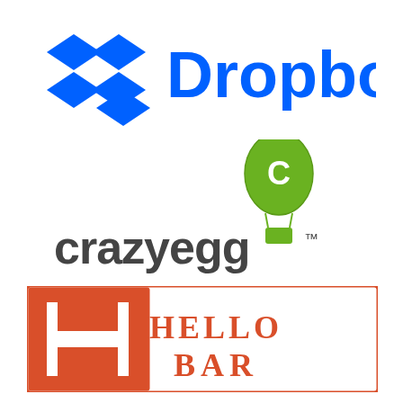[Figure (logo): Dropbox logo: blue diamond/box icon on the left and the word 'Dropbox' in bold blue text on the right]
[Figure (logo): Crazy Egg logo: green hot air balloon with a white 'C' above the word 'crazyegg' in dark gray with a TM mark]
[Figure (logo): Hello Bar logo: orange rectangle with a white H-bar icon on the left, and 'HELLO BAR' in orange serif text on a white background on the right, bordered in orange]